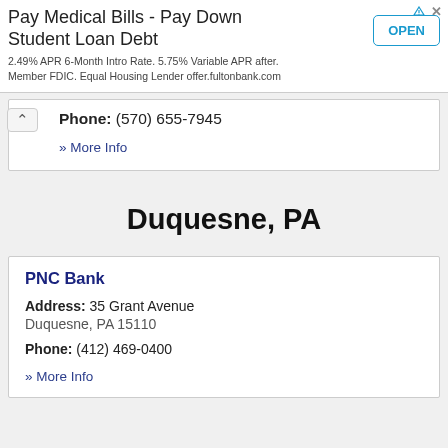[Figure (other): Advertisement banner: 'Pay Medical Bills - Pay Down Student Loan Debt. 2.49% APR 6-Month Intro Rate. 5.75% Variable APR after. Member FDIC. Equal Housing Lender offer.fultonbank.com' with an OPEN button.]
Phone: (570) 655-7945
» More Info
Duquesne, PA
PNC Bank
Address: 35 Grant Avenue Duquesne, PA 15110
Phone: (412) 469-0400
» More Info